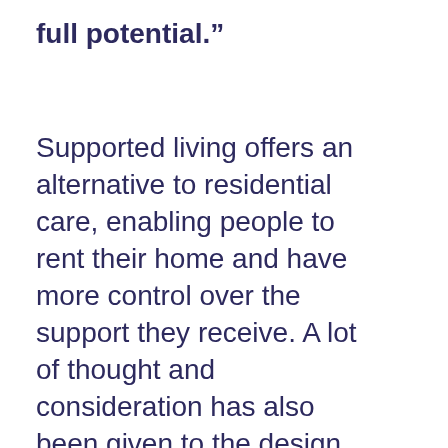full potential.”
Supported living offers an alternative to residential care, enabling people to rent their home and have more control over the support they receive. A lot of thought and consideration has also been given to the design of the